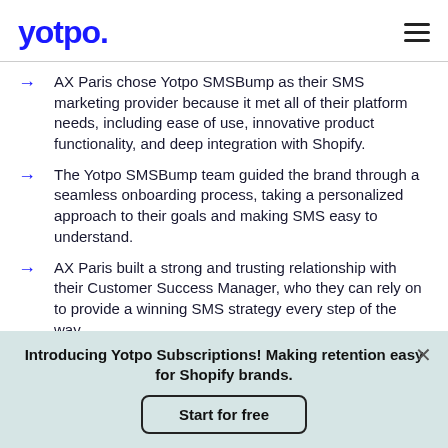yotpo.
AX Paris chose Yotpo SMSBump as their SMS marketing provider because it met all of their platform needs, including ease of use, innovative product functionality, and deep integration with Shopify.
The Yotpo SMSBump team guided the brand through a seamless onboarding process, taking a personalized approach to their goals and making SMS easy to understand.
AX Paris built a strong and trusting relationship with their Customer Success Manager, who they can rely on to provide a winning SMS strategy every step of the way.
Introducing Yotpo Subscriptions! Making retention easy for Shopify brands.
Start for free